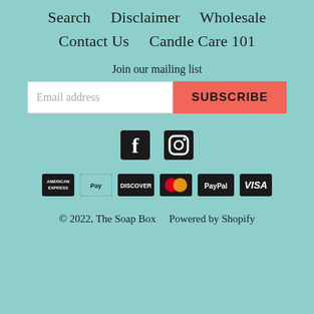Search    Disclaimer    Wholesale
Contact Us    Candle Care 101
Join our mailing list
[Figure (screenshot): Email address input field with white background and coral SUBSCRIBE button]
[Figure (other): Social media icons: Facebook and Instagram]
[Figure (other): Payment method icons: American Express, Apple Pay, Discover, MasterCard, PayPal, Visa]
© 2022, The Soap Box    Powered by Shopify